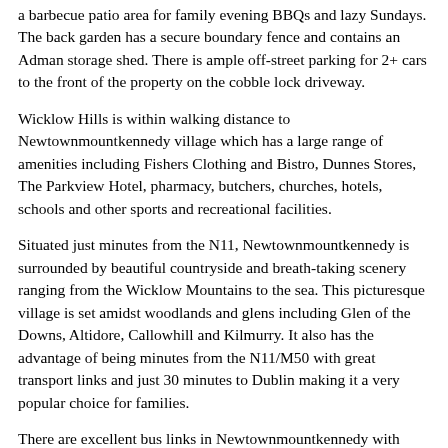a barbecue patio area for family evening BBQs and lazy Sundays. The back garden has a secure boundary fence and contains an Adman storage shed. There is ample off-street parking for 2+ cars to the front of the property on the cobble lock driveway.
Wicklow Hills is within walking distance to Newtownmountkennedy village which has a large range of amenities including Fishers Clothing and Bistro, Dunnes Stores, The Parkview Hotel, pharmacy, butchers, churches, hotels, schools and other sports and recreational facilities.
Situated just minutes from the N11, Newtownmountkennedy is surrounded by beautiful countryside and breath-taking scenery ranging from the Wicklow Mountains to the sea. This picturesque village is set amidst woodlands and glens including Glen of the Downs, Altidore, Callowhill and Kilmurry. It also has the advantage of being minutes from the N11/M50 with great transport links and just 30 minutes to Dublin making it a very popular choice for families.
There are excellent bus links in Newtownmountkennedy with both Dublin Bus and Bus Eireanns 133 route servicing the town. Greystones DART line is also close by, providing it with advantageous access to Bray and Dublin city. Newtownmountkennedy therefore accommodates the comfort of easy city access, while also providing the tranquillity of the